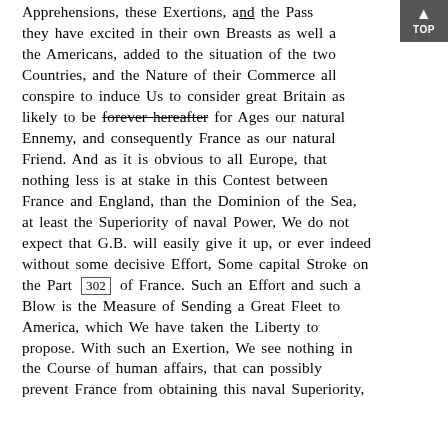Apprehensions, these Exertions, and the Passions they have excited in their own Breasts as well as in the Americans, added to the situation of the two Countries, and the Nature of their Commerce all conspire to induce Us to consider great Britain as likely to be forever hereafter for Ages our natural Ennemy, and consequently France as our natural Friend. And as it is obvious to all Europe, that nothing less is at stake in this Contest between France and England, than the Dominion of the Sea, at least the Superiority of naval Power, We do not expect that G.B. will easily give it up, or ever indeed without some decisive Effort, Some capital Stroke on the Part [302] of France. Such an Effort and such a Blow is the Measure of Sending a Great Fleet to America, which We have taken the Liberty to propose. With such an Exertion, We see nothing in the Course of human affairs, that can possibly prevent France from obtaining this naval Superiority,